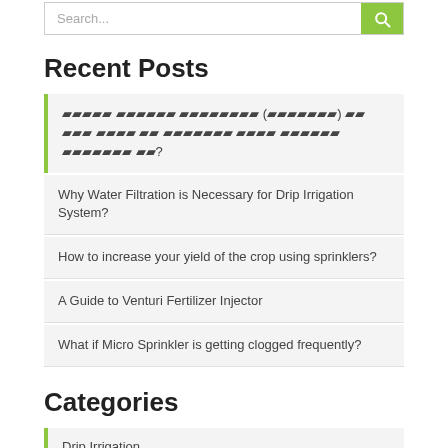Search...
Recent Posts
🔲🔲🔲🔲🔲 🔲🔲🔲🔲🔲🔲 🔲🔲🔲🔲🔲🔲🔲🔲 (🔲🔲🔲🔲🔲🔲🔲) 🔲🔲 🔲🔲🔲 🔲🔲🔲🔲 🔲🔲 🔲🔲🔲🔲🔲🔲🔲 🔲🔲🔲🔲 🔲🔲🔲🔲🔲🔲 🔲🔲🔲🔲🔲🔲🔲 🔲🔲?
Why Water Filtration is Necessary for Drip Irrigation System?
How to increase your yield of the crop using sprinklers?
A Guide to Venturi Fertilizer Injector
What if Micro Sprinkler is getting clogged frequently?
Categories
Drip Irrigation